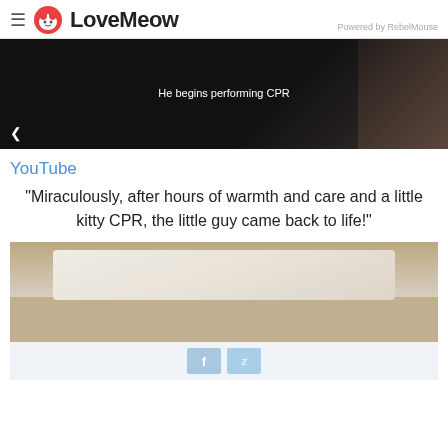LoveMeow — Powered by RebelMouse
[Figure (screenshot): Video still with dark background showing text 'He begins performing CPR' and a share icon]
YouTube
"Miraculously, after hours of warmth and care and a little kitty CPR, the little guy came back to life!"
[Figure (photo): Photo of a cat wrapped in white blanket/cloth inside a box]
[Figure (screenshot): Social share buttons showing Facebook (f) and Twitter (bird) icons on light blue background]